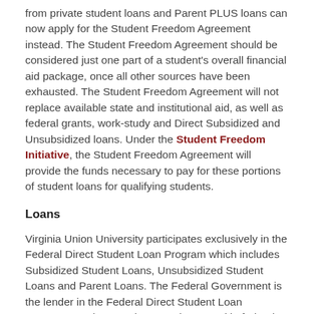from private student loans and Parent PLUS loans can now apply for the Student Freedom Agreement instead. The Student Freedom Agreement should be considered just one part of a student's overall financial aid package, once all other sources have been exhausted. The Student Freedom Agreement will not replace available state and institutional aid, as well as federal grants, work-study and Direct Subsidized and Unsubsidized loans. Under the Student Freedom Initiative, the Student Freedom Agreement will provide the funds necessary to pay for these portions of student loans for qualifying students.
Loans
Virginia Union University participates exclusively in the Federal Direct Student Loan Program which includes Subsidized Student Loans, Unsubsidized Student Loans and Parent Loans. The Federal Government is the lender in the Federal Direct Student Loan Program. Students and parents interested in federal student and parent loans will be required to apply through the Federal Direct Student Loan Program and complete master promissory notes. If